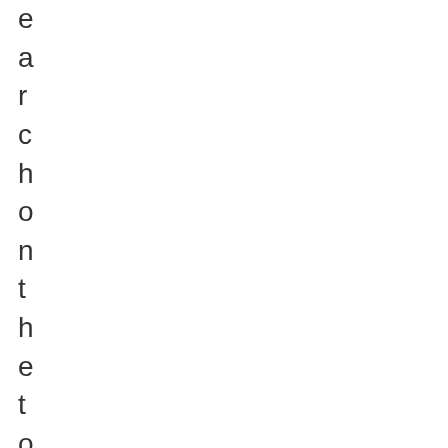e
a
r
c
h
o
n
t
h
e
t
o
p
i
c
a
n
d
t
h
e
n
y
o
u
p
a
y
s